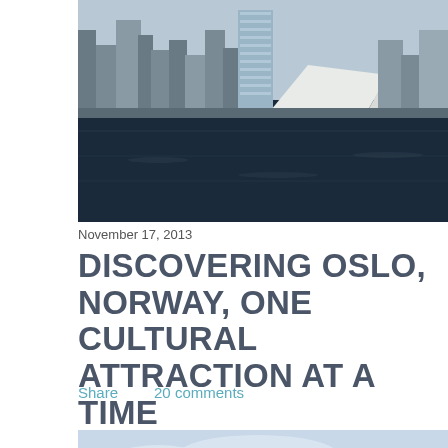[Figure (photo): Aerial/waterfront view of Oslo city skyline with modern buildings and the Oslo Opera House visible along the waterfront, dark blue fjord water in foreground]
November 17, 2013
DISCOVERING OSLO, NORWAY, ONE CULTURAL ATTRACTION AT A TIME
Share    20 comments
[Figure (photo): Light blue sky scene with a small structure/antenna platform and a tall lattice tower (resembling Eiffel Tower) visible in the background, possibly taken from a boat or elevated platform in Oslo]